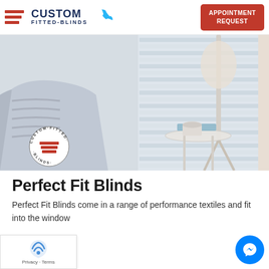[Figure (logo): Custom Fitted-Blinds logo with red horizontal stripes and dark blue text]
[Figure (illustration): Blue phone handset icon]
[Figure (illustration): Red button with white text: APPOINTMENT REQUEST]
[Figure (photo): Interior room photo showing a grey striped armchair, small white side table with blue mug and books, floor lamp, and horizontal window blinds letting in light. Custom Fitted-Blinds circular watermark logo overlaid at bottom left.]
Perfect Fit Blinds
Perfect Fit Blinds come in a range of performance textiles and fit into the window